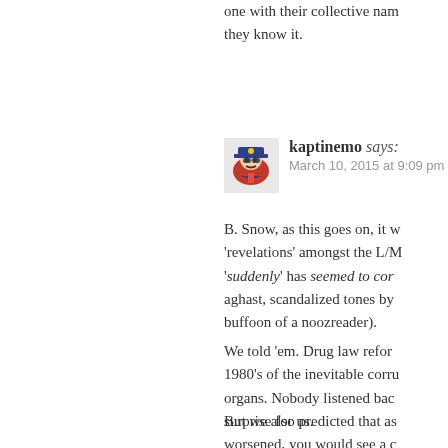one with their collective name … they know it.
kaptinemo says: March 10, 2015 at 9:09 pm
B. Snow, as this goes on, it w… 'revelations' amongst the L/M… 'suddenly' has seemed to cor… aghast, scandalized tones by … buffoon of a noozreader).
We told 'em. Drug law refor… 1980's of the inevitable corru… organs. Nobody listened bac… surprise for us.
But we also predicted that as… worsened, you would see a c…